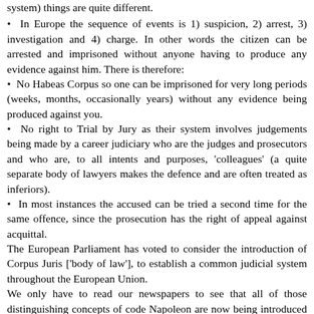system) things are quite different.
• In Europe the sequence of events is 1) suspicion, 2) arrest, 3) investigation and 4) charge. In other words the citizen can be arrested and imprisoned without anyone having to produce any evidence against him. There is therefore:
• No Habeas Corpus so one can be imprisoned for very long periods (weeks, months, occasionally years) without any evidence being produced against you.
• No right to Trial by Jury as their system involves judgements being made by a career judiciary who are the judges and prosecutors and who are, to all intents and purposes, 'colleagues' (a quite separate body of lawyers makes the defence and are often treated as inferiors).
• In most instances the accused can be tried a second time for the same offence, since the prosecution has the right of appeal against acquittal.
The European Parliament has voted to consider the introduction of Corpus Juris ['body of law'], to establish a common judicial system throughout the European Union.
We only have to read our newspapers to see that all of those distinguishing concepts of code Napoleon are now being introduced into Britain with an attendant destruction